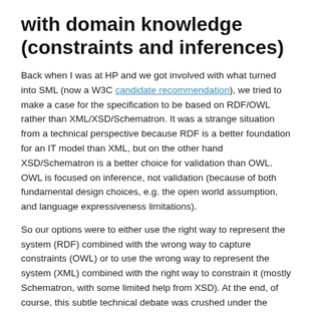with domain knowledge (constraints and inferences)
Back when I was at HP and we got involved with what turned into SML (now a W3C candidate recommendation), we tried to make a case for the specification to be based on RDF/OWL rather than XML/XSD/Schematron. It was a strange situation from a technical perspective because RDF is a better foundation for an IT model than XML, but on the other hand XSD/Schematron is a better choice for validation than OWL. OWL is focused on inference, not validation (because of both fundamental design choices, e.g. the open world assumption, and language expressiveness limitations).
So our options were to either use the right way to represent the system (RDF) combined with the wrong way to capture constraints (OWL) or to use the wrong way to represent the system (XML) combined with the right way to constrain it (mostly Schematron, with some limited help from XSD). At the end, of course, this subtle technical debate was crushed under the steamroller of vendor politics and RDF never got a fair ...